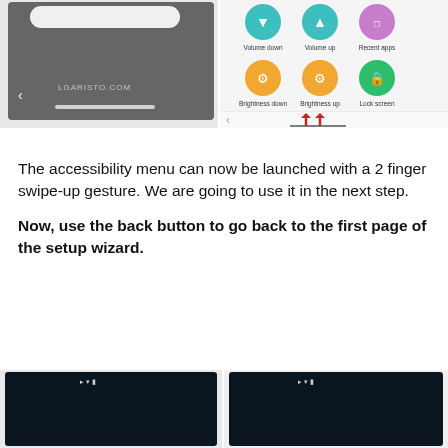[Figure (screenshot): Two side-by-side screenshots of an Android accessibility menu showing volume down, volume up, recent apps, brightness down, brightness up, lock screen icons, and red upward arrows indicating a 2-finger swipe-up gesture. Watermark text LGARISTO.COM is visible.]
The accessibility menu can now be launched with a 2 finger swipe-up gesture. We are going to use it in the next step.
Now, use the back button to go back to the first page of the setup wizard.
[Figure (screenshot): Bottom portion of an Android device screenshot showing a dark screen with status bar icons (WiFi, signal, battery) visible at the top.]